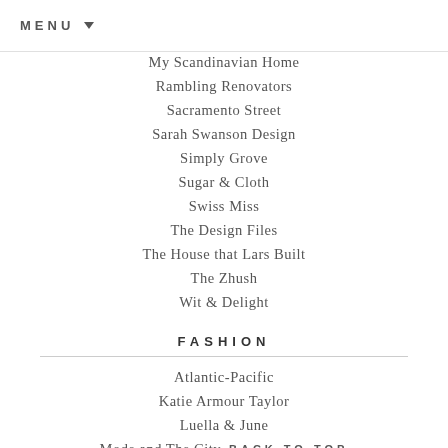MENU ▾
My Scandinavian Home
Rambling Renovators
Sacramento Street
Sarah Swanson Design
Simply Grove
Sugar & Cloth
Swiss Miss
The Design Files
The House that Lars Built
The Zhush
Wit & Delight
FASHION
Atlantic-Pacific
Katie Armour Taylor
Luella & June
Mode and The City
The Blonde Salad